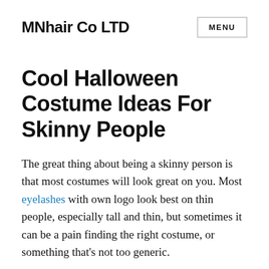MNhair Co LTD | MENU
Cool Halloween Costume Ideas For Skinny People
The great thing about being a skinny person is that most costumes will look great on you. Most eyelashes with own logo look best on thin people, especially tall and thin, but sometimes it can be a pain finding the right costume, or something that’s not too generic.